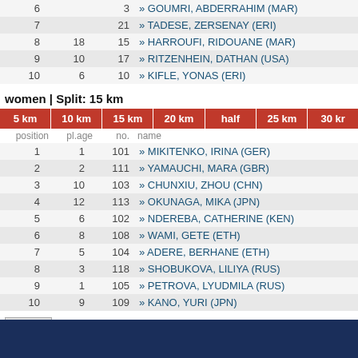| position | pl.age | no. | name |
| --- | --- | --- | --- |
| 6 |  | 3 | » GOUMRI, ABDERRAHIM (MAR) |
| 7 |  | 21 | » TADESE, ZERSENAY (ERI) |
| 8 | 18 | 15 | » HARROUFI, RIDOUANE (MAR) |
| 9 | 10 | 17 | » RITZENHEIN, DATHAN (USA) |
| 10 | 6 | 10 | » KIFLE, YONAS (ERI) |
women | Split: 15 km
| 5 km | 10 km | 15 km | 20 km | half | 25 km | 30 km |
| --- | --- | --- | --- | --- | --- | --- |
| position | pl.age | no. | name |
| --- | --- | --- | --- |
| 1 | 1 | 101 | » MIKITENKO, IRINA (GER) |
| 2 | 2 | 111 | » YAMAUCHI, MARA (GBR) |
| 3 | 10 | 103 | » CHUNXIU, ZHOU (CHN) |
| 4 | 12 | 113 | » OKUNAGA, MIKA (JPN) |
| 5 | 6 | 102 | » NDEREBA, CATHERINE (KEN) |
| 6 | 8 | 108 | » WAMI, GETE (ETH) |
| 7 | 5 | 104 | » ADERE, BERHANE (ETH) |
| 8 | 3 | 118 | » SHOBUKOVA, LILIYA (RUS) |
| 9 | 1 | 105 | » PETROVA, LYUDMILA (RUS) |
| 10 | 9 | 109 | » KANO, YURI (JPN) |
refresh